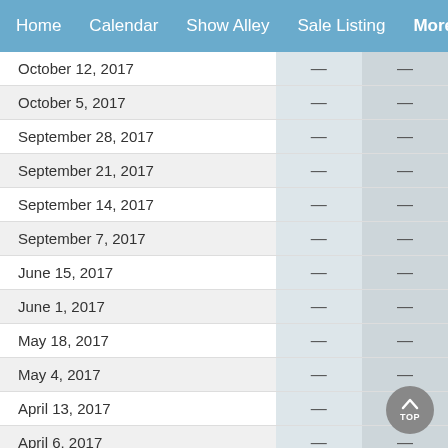Home   Calendar   Show Alley   Sale Listing   More
|  |  |  |
| --- | --- | --- |
| October 12, 2017 | — | — |
| October 5, 2017 | — | — |
| September 28, 2017 | — | — |
| September 21, 2017 | — | — |
| September 14, 2017 | — | — |
| September 7, 2017 | — | — |
| June 15, 2017 | — | — |
| June 1, 2017 | — | — |
| May 18, 2017 | — | — |
| May 4, 2017 | — | — |
| April 13, 2017 | — | — |
| April 6, 2017 | — | — |